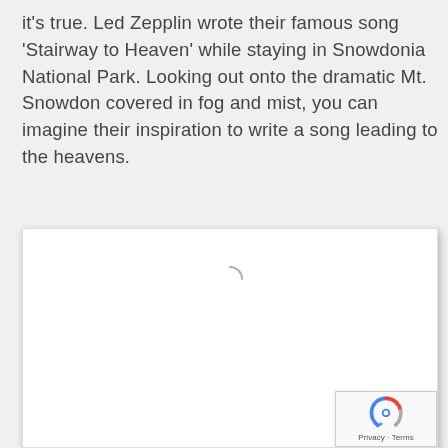it's true. Led Zepplin wrote their famous song 'Stairway to Heaven' while staying in Snowdonia National Park. Looking out onto the dramatic Mt. Snowdon covered in fog and mist, you can imagine their inspiration to write a song leading to the heavens.
[Figure (other): An embedded Google Maps iframe showing a map area, currently loading (shown by a loading arc spinner). A reCAPTCHA badge appears in the bottom-right corner with the Google reCAPTCHA logo and 'Privacy · Terms' text.]